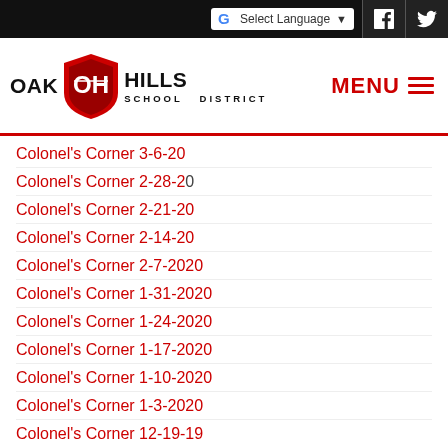Oak Hills School District - Select Language - Facebook - Twitter
[Figure (logo): Oak Hills School District logo with shield mascot and text OAK HILLS SCHOOL DISTRICT]
Colonel's Corner 3-6-20
Colonel's Corner 2-28-20
Colonel's Corner 2-21-20
Colonel's Corner 2-14-20
Colonel's Corner 2-7-2020
Colonel's Corner 1-31-2020
Colonel's Corner 1-24-2020
Colonel's Corner 1-17-2020
Colonel's Corner 1-10-2020
Colonel's Corner 1-3-2020
Colonel's Corner 12-19-19